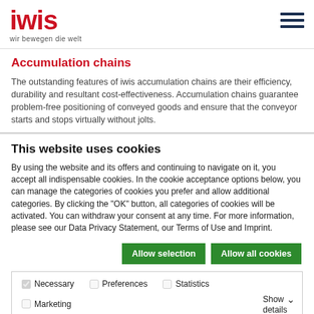iwis — wir bewegen die welt
Accumulation chains
The outstanding features of iwis accumulation chains are their efficiency, durability and resultant cost-effectiveness. Accumulation chains guarantee problem-free positioning of conveyed goods and ensure that the conveyor starts and stops virtually without jolts.
This website uses cookies
By using the website and its offers and continuing to navigate on it, you accept all indispensable cookies. In the cookie acceptance options below, you can manage the categories of cookies you prefer and allow additional categories. By clicking the "OK" button, all categories of cookies will be activated. You can withdraw your consent at any time. For more information, please see our Data Privacy Statement, our Terms of Use and Imprint.
Allow selection | Allow all cookies
Necessary  Preferences  Statistics  Marketing  Show details